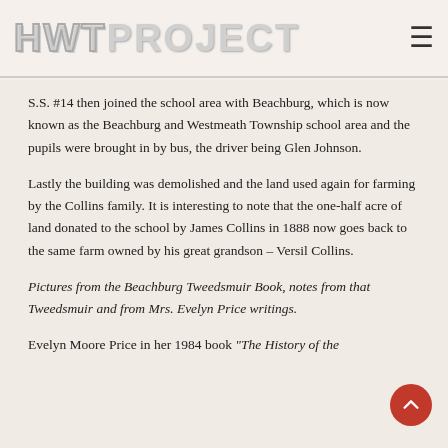HWTPROJECT
S.S. #14 then joined the school area with Beachburg, which is now known as the Beachburg and Westmeath Township school area and the pupils were brought in by bus, the driver being Glen Johnson.
Lastly the building was demolished and the land used again for farming by the Collins family. It is interesting to note that the one-half acre of land donated to the school by James Collins in 1888 now goes back to the same farm owned by his great grandson – Versil Collins.
Pictures from the Beachburg Tweedsmuir Book, notes from that Tweedsmuir and from Mrs. Evelyn Price writings.
Evelyn Moore Price in her 1984 book "The History of the